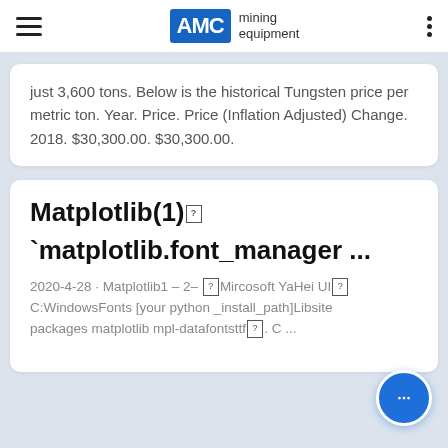AMC mining equipment
just 3,600 tons. Below is the historical Tungsten price per metric ton. Year. Price. Price (Inflation Adjusted) Change. 2018. $30,300.00. $30,300.00.
Matplotlib(1) `matplotlib.font_manager ...
2020-4-28 · Matplotlib1 – 2– Mircosoft YaHei UI C:WindowsFonts [your python _install_path]Libsite packages matplotlib mpl-datafontsttf. C ...